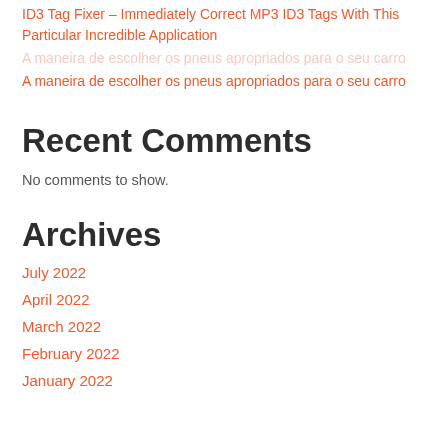ID3 Tag Fixer – Immediately Correct MP3 ID3 Tags With This Particular Incredible Application
A maneira de escolher os pneus apropriados para o seu carro
Recent Comments
No comments to show.
Archives
July 2022
April 2022
March 2022
February 2022
January 2022